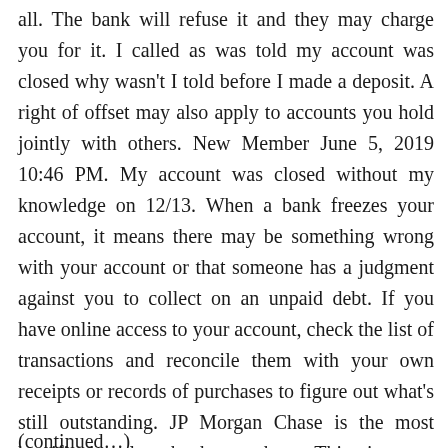all. The bank will refuse it and they may charge you for it. I called as was told my account was closed why wasn't I told before I made a deposit. A right of offset may also apply to accounts you hold jointly with others. New Member June 5, 2019 10:46 PM. My account was closed without my knowledge on 12/13. When a bank freezes your account, it means there may be something wrong with your account or that someone has a judgment against you to collect on an unpaid debt. If you have online access to your account, check the list of transactions and reconcile them with your own receipts or records of purchases to figure out what's still outstanding. JP Morgan Chase is the most horrific heartless bank out there. This time my account was closed without any notice, I simply logged on today to see that I was down to one.
(partial, continued below)